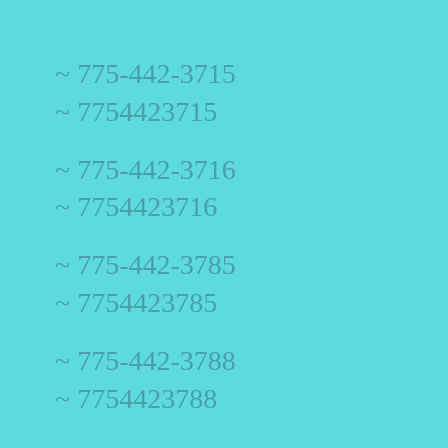~ 775-442-3715
~ 7754423715
~ 775-442-3716
~ 7754423716
~ 775-442-3785
~ 7754423785
~ 775-442-3788
~ 7754423788